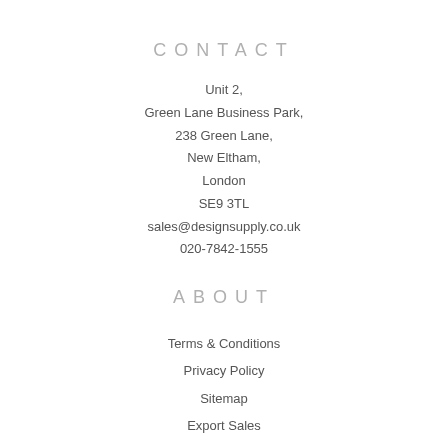CONTACT
Unit 2,
Green Lane Business Park,
238 Green Lane,
New Eltham,
London
SE9 3TL
sales@designsupply.co.uk
020-7842-1555
ABOUT
Terms & Conditions
Privacy Policy
Sitemap
Export Sales
Work for Us
Other Stuff
Delivery,Refunds,
Returns & Warranties